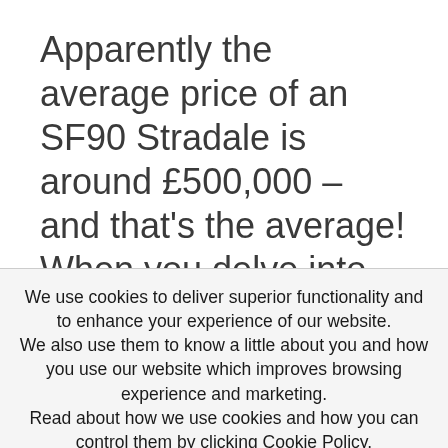Apparently the average price of an SF90 Stradale is around £500,000 – and that's the average! When you delve into the options prices
We use cookies to deliver superior functionality and to enhance your experience of our website. We also use them to know a little about you and how you use our website which improves browsing experience and marketing. Read about how we use cookies and how you can control them by clicking Cookie Policy. To accept cookies and continue browsing click accept
ACCEPT